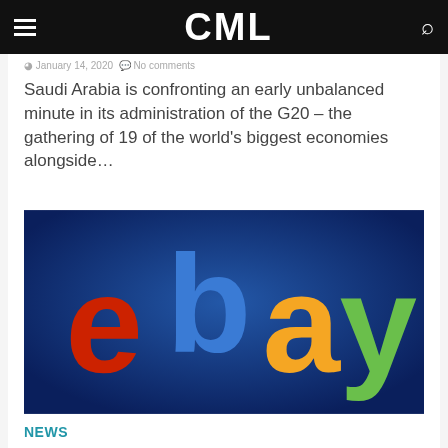CML
January 14, 2020 · No comments
Saudi Arabia is confronting an early unbalanced minute in its administration of the G20 – the gathering of 19 of the world's biggest economies alongside…
[Figure (photo): eBay logo on a dark blue background with red 'e', blue 'b', yellow 'a', and green 'y' letters]
NEWS